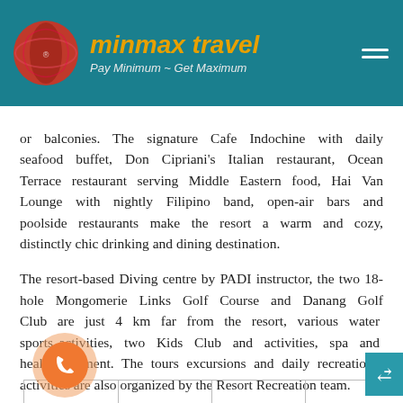minmax travel — Pay Minimum ~ Get Maximum
or balconies. The signature Cafe Indochine with daily seafood buffet, Don Cipriani’s Italian restaurant, Ocean Terrace restaurant serving Middle Eastern food, Hai Van Lounge with nightly Filipino band, open-air bars and poolside restaurants make the resort a warm and cozy, distinctly chic drinking and dining destination. The resort-based Diving centre by PADI instructor, the two 18-hole Mongomerie Links Golf Course and Danang Golf Club are just 4 km far from the resort, various water sports activities, two Kids Club and activities, spa and health treatment. The tours excursions and daily recreational activities are also organized by the Resort Recreation team.
[Figure (logo): Phone call button (orange circle) at bottom left]
[Figure (other): Scroll/chat button (teal rectangle) at bottom right]